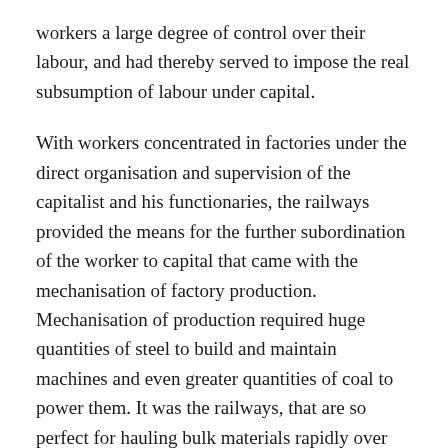workers a large degree of control over their labour, and had thereby served to impose the real subsumption of labour under capital.
With workers concentrated in factories under the direct organisation and supervision of the capitalist and his functionaries, the railways provided the means for the further subordination of the worker to capital that came with the mechanisation of factory production. Mechanisation of production required huge quantities of steel to build and maintain machines and even greater quantities of coal to power them. It was the railways, that are so perfect for hauling bulk materials rapidly over large distances, which provided the vital means of transport without which mechanisation of production would have been impossible.